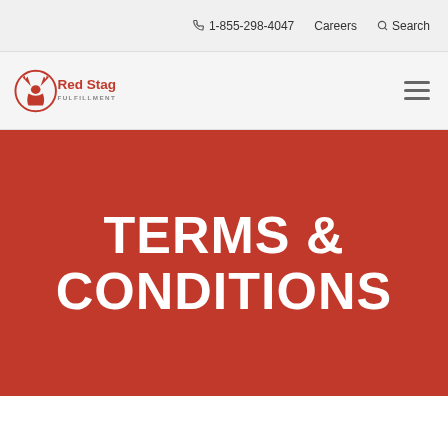1-855-298-4047  Careers  Search
[Figure (logo): Red Stag Fulfillment logo with deer antler icon in red and company name text]
TERMS & CONDITIONS